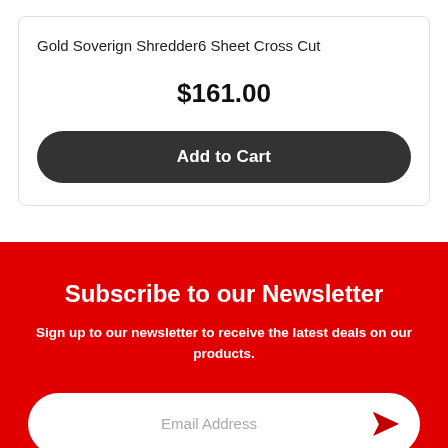Gold Soverign Shredder6 Sheet Cross Cut
$161.00
Add to Cart
Subscribe to our Newsletter
Sign up to our newsletter to receive the latest deals on our products.
Email Address